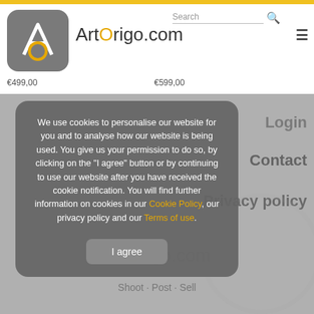[Figure (logo): ArtOrigo.com logo — grey rounded square with white A and yellow circle, site name ArtOrigo.com in header]
€499,00
€599,00
We use cookies to personalise our website for you and to analyse how our website is being used. You give us your permission to do so, by clicking on the "I agree" button or by continuing to use our website after you have received the cookie notification. You will find further information on cookies in our Cookie Policy, our privacy policy and our Terms of use.
I agree